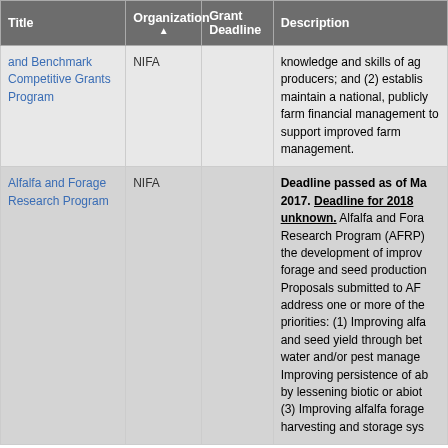| Title | Organization ▲ | Grant Deadline | Description |
| --- | --- | --- | --- |
| and Benchmark Competitive Grants Program | NIFA |  | knowledge and skills of ag producers; and (2) establis maintain a national, publicly farm financial management to support improved farm management. |
| Alfalfa and Forage Research Program | NIFA |  | Deadline passed as of Ma 2017. Deadline for 2018 unknown. Alfalfa and Fora Research Program (AFRP) the development of improv forage and seed production Proposals submitted to AF address one or more of the priorities: (1) Improving alfa and seed yield through bet water and/or pest manage Improving persistence of ab by lessening biotic or abiot (3) Improving alfalfa forage harvesting and storage sys |